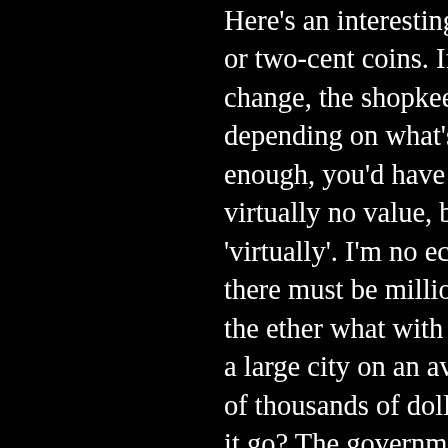Here's an interesting fact: Australians have no one-cent or two-cent coins. If you ever require any small coin change, the shopkeeper rounds up or down accordingly, depending on what's more convenient. Fair enough, you'd have thought, since the coins are of virtually no value, but take careful note of the word 'virtually'. I'm no economist, but even I can see that there must be millions of pennies disappearing into the ether what with all the transactions going on in a large city on an average day. Probably hundreds of thousands of dollars each year, and where does it go? The government, my friends, the government. Fortunately, I have faith in our elected representatives and believe they will spend that money sensibly. I also eat gravel and read at a rudimentary level.

Over the last few days I have been attempting to explore the city on my own. I usually hang off Sarah's coat-tails like an awkward child, as it's easy to get lost in a place like a big city, but this time I became slightly more independent. For example, yesterday I went looking for a McDonalds. I had seen a sign at a bus-stop not far from the house reading "McDonalds! Next right!" Of course, when they say 'next right', they of course mean 'and an incredibly long way when you reach the end of the road, which is a really long way when you're on foot, ha-ha'. It took me a while to figure that out. I went a little way down the road, figured I was being misled